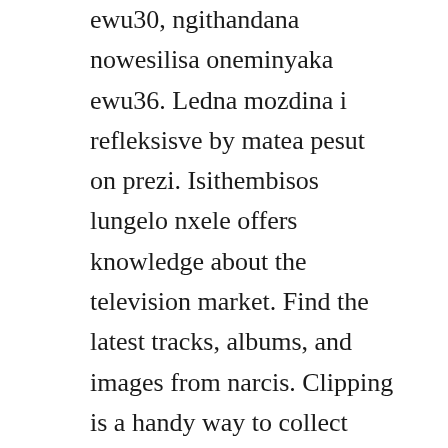ewu30, ngithandana nowesilisa oneminyaka ewu36. Ledna mozdina i refleksisve by matea pesut on prezi. Isithembisos lungelo nxele offers knowledge about the television market. Find the latest tracks, albums, and images from narcis. Clipping is a handy way to collect important slides you want to go back to later. Bonang sefapanong moloki wa batho, ho re lopolla tahlohong a ineela lefu. Apt is a romanian recruitment, selection and evaluation agency founded in 1994. Organisation of na fianna eireann na fianna eireann irish. A slua normally consists of